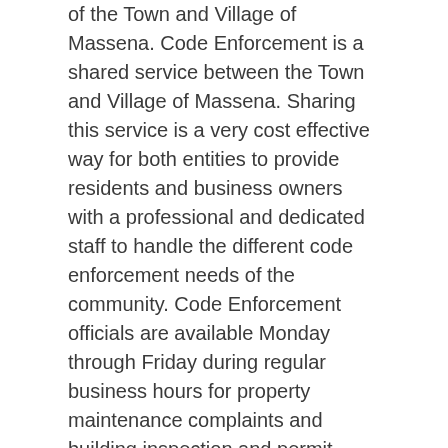of the Town and Village of Massena. Code Enforcement is a shared service between the Town and Village of Massena. Sharing this service is a very cost effective way for both entities to provide residents and business owners with a professional and dedicated staff to handle the different code enforcement needs of the community. Code Enforcement officials are available Monday through Friday during regular business hours for property maintenance complaints and building inspection and permit needs. Code Enforcement officials are also available 24 hours a day, seven days a week to address any life safety issues that arise in our community. Our Code Enforcement Division is a system coveted by many of the surrounding communities. Many areas may only have a part-time Code Enforcement Official that is only available a few days and limited hours per week. Our system provides Massena residents and business owners with the highest quality Code Enforcement service a municipality can provide.
The Town and Village of Massena Code Enforcement Division is committed to serve and protect the residents, business owners, and visitors of Massena. By enforcing the minimum housing codes and to protect from and protect...